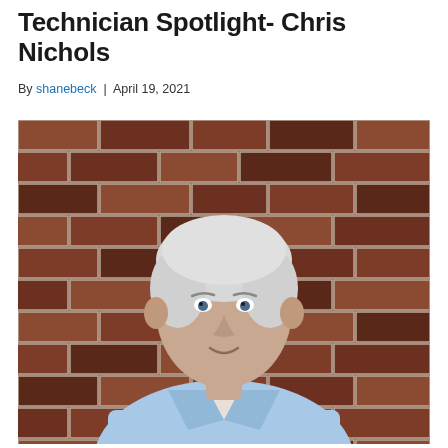Technician Spotlight- Chris Nichols
By shanebeck | April 19, 2021
[Figure (photo): Portrait photo of Chris Nichols, a middle-aged white male with gray hair, wearing a light blue Patton company polo shirt, standing in front of a red brick wall, smiling at the camera.]